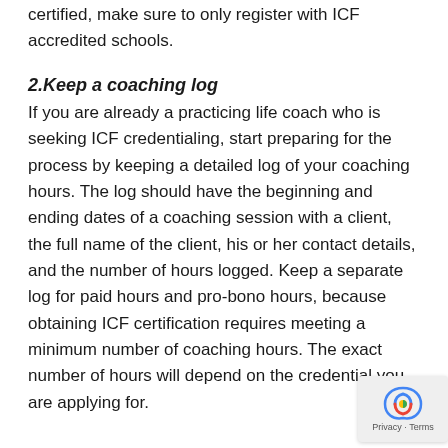certified, make sure to only register with ICF accredited schools.
2.Keep a coaching log
If you are already a practicing life coach who is seeking ICF credentialing, start preparing for the process by keeping a detailed log of your coaching hours. The log should have the beginning and ending dates of a coaching session with a client, the full name of the client, his or her contact details, and the number of hours logged. Keep a separate log for paid hours and pro-bono hours, because obtaining ICF certification requires meeting a minimum number of coaching hours. The exact number of hours will depend on the credential you are applying for.